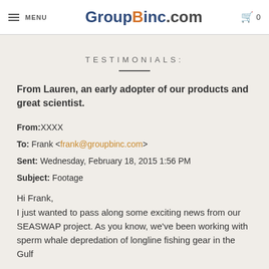MENU | GroupBinc.com | 0
TESTIMONIALS:
From Lauren, an early adopter of our products and great scientist.
From: XXXX
To: Frank <frank@groupbinc.com>
Sent: Wednesday, February 18, 2015 1:56 PM
Subject: Footage
Hi Frank,
I just wanted to pass along some exciting news from our SEASWAP project. As you know, we've been working with sperm whale depredation of longline fishing gear in the Gulf